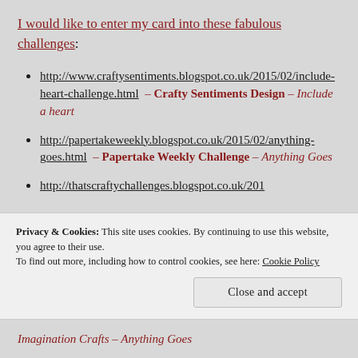I would like to enter my card into these fabulous challenges:
http://www.craftysentiments.blogspot.co.uk/2015/02/include-heart-challenge.html – Crafty Sentiments Design – Include a heart
http://papertakeweekly.blogspot.co.uk/2015/02/anything-goes.html – Papertake Weekly Challenge – Anything Goes
http://thatscraftychallenges.blogspot.co.uk/201...
Privacy & Cookies: This site uses cookies. By continuing to use this website, you agree to their use. To find out more, including how to control cookies, see here: Cookie Policy
Close and accept
Imagination Crafts – Anything Goes